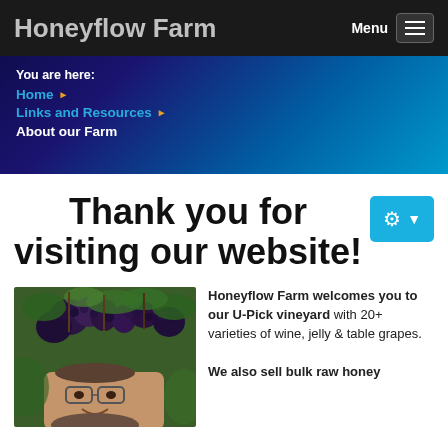Honeyflow Farm
You are here:
Home ▶
Links and Resources ▶
About our Farm
Thank you for visiting our website!
[Figure (photo): A man smiling among grapevines with clusters of dark purple grapes]
Honeyflow Farm welcomes you to our U-Pick vineyard with 20+ varieties of wine, jelly & table grapes. We also sell bulk raw honey